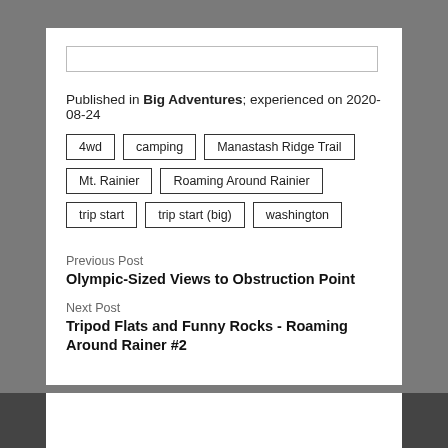Published in Big Adventures; experienced on 2020-08-24
4wd
camping
Manastash Ridge Trail
Mt. Rainier
Roaming Around Rainier
trip start
trip start (big)
washington
Previous Post
Olympic-Sized Views to Obstruction Point
Next Post
Tripod Flats and Funny Rocks - Roaming Around Rainer #2